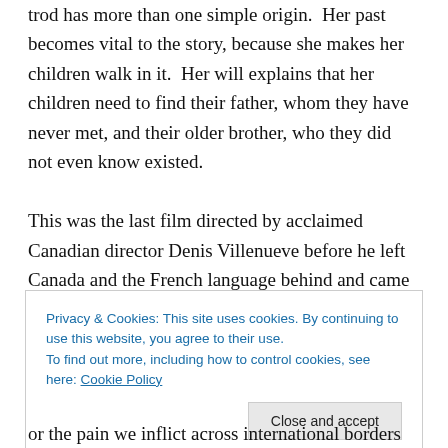trod has more than one simple origin. Her past becomes vital to the story, because she makes her children walk in it. Her will explains that her children need to find their father, whom they have never met, and their older brother, who they did not even know existed.
This was the last film directed by acclaimed Canadian director Denis Villenueve before he left Canada and the French language behind and came to the United States and started being given big
Privacy & Cookies: This site uses cookies. By continuing to use this website, you agree to their use.
To find out more, including how to control cookies, see here: Cookie Policy
or the pain we inflict across international borders